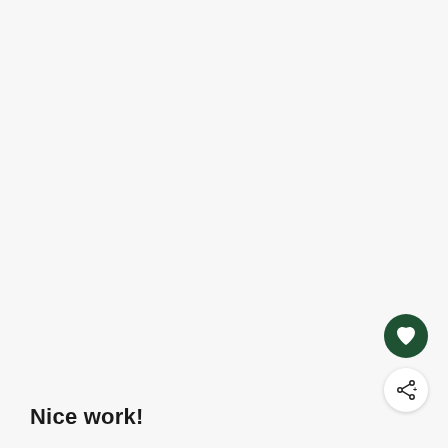Nice work!
[Figure (illustration): Dark green circular button with a white heart icon]
[Figure (illustration): White circular button with a dark share/network icon and a plus sign]